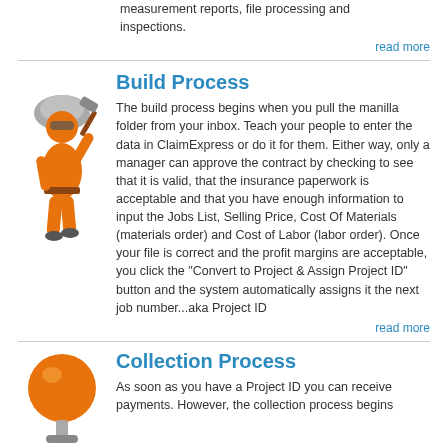measurement reports, file processing and inspections.
read more
Build Process
The build process begins when you pull the manilla folder from your inbox. Teach your people to enter the data in ClaimExpress or do it for them. Either way, only a manager can approve the contract by checking to see that it is valid, that the insurance paperwork is acceptable and that you have enough information to input the Jobs List, Selling Price, Cost Of Materials (materials order) and Cost of Labor (labor order). Once your file is correct and the profit margins are acceptable, you click the "Convert to Project & Assign Project ID" button and the system automatically assigns it the next job number...aka Project ID
read more
Collection Process
As soon as you have a Project ID you can receive payments. However, the collection process begins